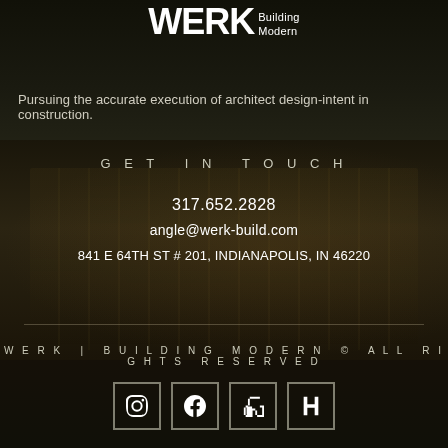[Figure (logo): werk Building Modern logo — bold white WERK wordmark with 'Building Modern' subtitle]
Pursuing the accurate execution of architect design-intent in construction.
GET IN TOUCH
317.652.2828
angle@werk-build.com
841 E 64TH ST # 201, INDIANAPOLIS, IN 46220
WERK | Building Modern © All Rights Reserved
[Figure (illustration): Four social media icon buttons in square outlines: Instagram, Facebook, Houzz, another H icon]